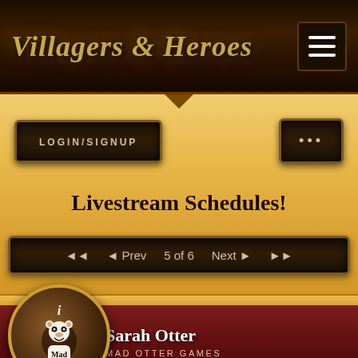Villagers & Heroes
LOGIN/SIGNUP
...
Livestream Schedules!
◄◄  ◄Prev  5 of 6  Next►  ►►
[Figure (logo): Mad Otter Games circular logo with otter mascot illustration]
Sarah Otter
MAD OTTER GAMES
Developer